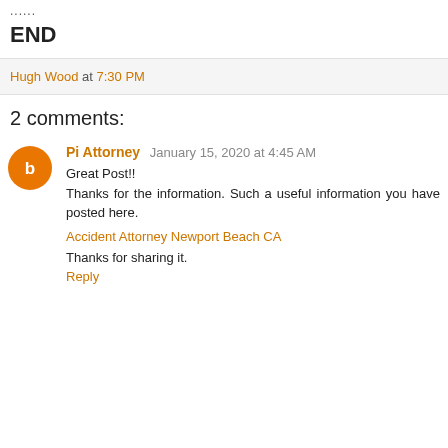......
END
Hugh Wood at 7:30 PM
2 comments:
Pi Attorney January 15, 2020 at 4:45 AM
Great Post!!
Thanks for the information. Such a useful information you have posted here.
Accident Attorney Newport Beach CA
Thanks for sharing it.
Reply